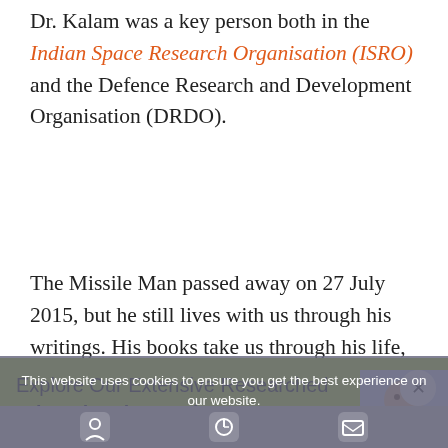Dr. Kalam was a key person both in the Indian Space Research Organisation (ISRO) and the Defence Research and Development Organisation (DRDO).
The Missile Man passed away on 27 July 2015, but he still lives with us through his writings. His books take us through his life,
Explore Our Extensive Researched Educational App Directory
Visit Now «
This website uses cookies to ensure you get the best experience on our website.
inspiration, and imagination.
[footer icon bar]